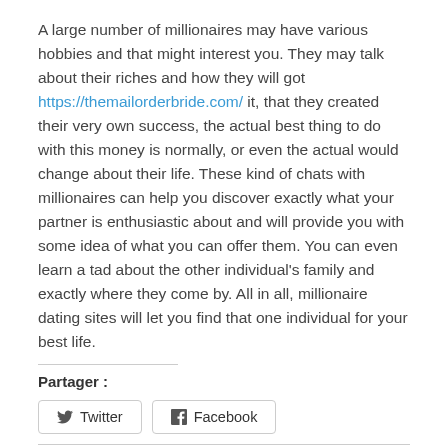A large number of millionaires may have various hobbies and that might interest you. They may talk about their riches and how they will got https://themailorderbride.com/ it, that they created their very own success, the actual best thing to do with this money is normally, or even the actual would change about their life. These kind of chats with millionaires can help you discover exactly what your partner is enthusiastic about and will provide you with some idea of what you can offer them. You can even learn a tad about the other individual's family and exactly where they come by. All in all, millionaire dating sites will let you find that one individual for your best life.
Partager :
[Figure (other): Share buttons for Twitter and Facebook]